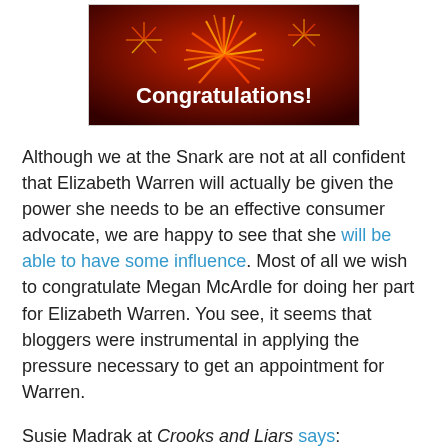[Figure (photo): Fireworks image with 'Congratulations!' text overlay in white bold font on a red/orange background]
Although we at the Snark are not at all confident that Elizabeth Warren will actually be given the power she needs to be an effective consumer advocate, we are happy to see that she will be able to have some influence. Most of all we wish to congratulate Megan McArdle for doing her part for Elizabeth Warren. You see, it seems that bloggers were instrumental in applying the pressure necessary to get an appointment for Warren.
Susie Madrak at Crooks and Liars says:
I just got off a blogger call with Elizabeth Warren (if you have any doubt that her appointment is seen as by the White House as a concession